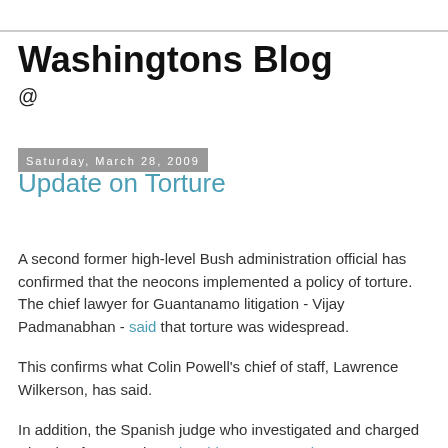Washingtons Blog
@
Saturday, March 28, 2009
Update on Torture
A second former high-level Bush administration official has confirmed that the neocons implemented a policy of torture. The chief lawyer for Guantanamo litigation - Vijay Padmanabhan - said that torture was widespread.
This confirms what Colin Powell's chief of staff, Lawrence Wilkerson, has said.
In addition, the Spanish judge who investigated and charged Pinochet for war crimes has his eye on - and may prosecute - Bush Officials for torture (for background information, soo